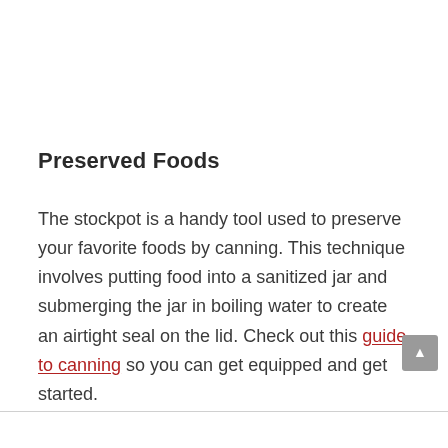Preserved Foods
The stockpot is a handy tool used to preserve your favorite foods by canning. This technique involves putting food into a sanitized jar and submerging the jar in boiling water to create an airtight seal on the lid. Check out this guide to canning so you can get equipped and get started.